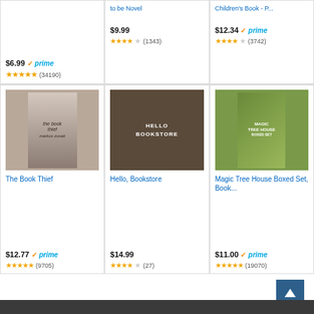[Figure (screenshot): Amazon product listing grid showing 6 book products with prices, prime badges, star ratings, and review counts. Top row shows partial cards, bottom row shows The Book Thief ($12.77, 4.5 stars, 9705 reviews), Hello Bookstore ($14.99, 4 stars, 27 reviews), Magic Tree House Boxed Set ($11.00, 4.5 stars, 19070 reviews).]